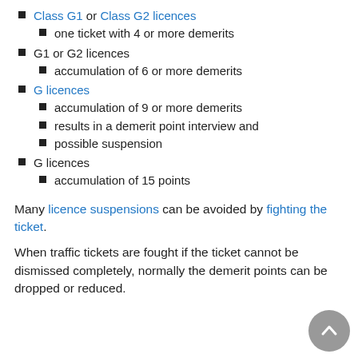Class G1 or Class G2 licences
one ticket with 4 or more demerits
G1 or G2 licences
accumulation of 6 or more demerits
G licences
accumulation of 9 or more demerits
results in a demerit point interview and
possible suspension
G licences
accumulation of 15 points
Many licence suspensions can be avoided by fighting the ticket.
When traffic tickets are fought if the ticket cannot be dismissed completely, normally the demerit points can be dropped or reduced.